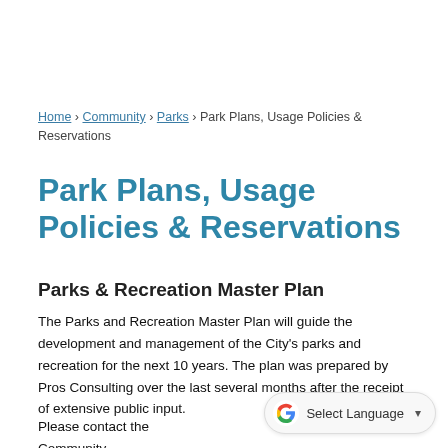Home › Community › Parks › Park Plans, Usage Policies & Reservations
Park Plans, Usage Policies & Reservations
Parks & Recreation Master Plan
The Parks and Recreation Master Plan will guide the development and management of the City's parks and recreation for the next 10 years. The plan was prepared by Pros Consulting over the last several months after the receipt of extensive public input.
Please contact the Community Development